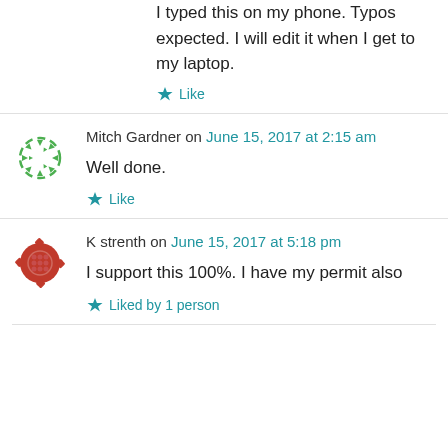I typed this on my phone. Typos expected. I will edit it when I get to my laptop.
Like
Mitch Gardner on June 15, 2017 at 2:15 am
Well done.
Like
K strenth on June 15, 2017 at 5:18 pm
I support this 100%. I have my permit also
Liked by 1 person